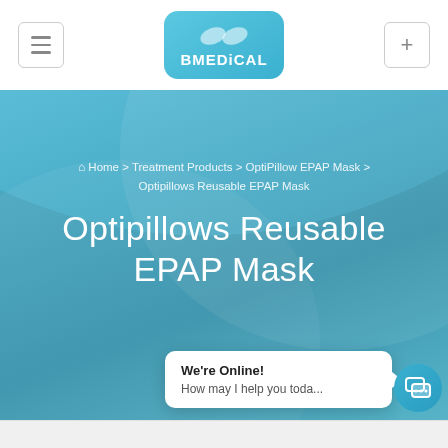[Figure (logo): BMEDiCAL logo — blue rounded rectangle with stylized white icon above and 'BMEDiCAL' text in white]
[Figure (screenshot): Blue hero banner with breadcrumb navigation and page title 'Optipillows Reusable EPAP Mask' on gradient blue background]
🏠 Home > Treatment Products > OptiPillow EPAP Mask > Optipillows Reusable EPAP Mask
Optipillows Reusable EPAP Mask
We're Online! How may I help you toda...